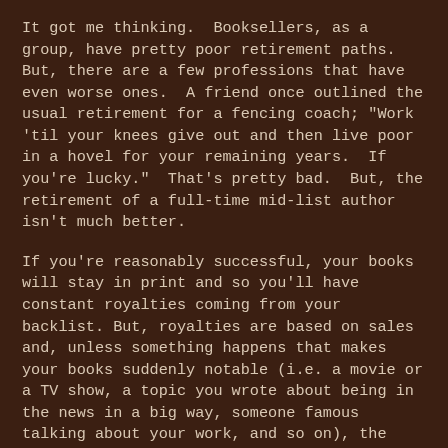It got me thinking.  Booksellers, as a group, have pretty poor retirement paths.  But, there are a few professions that have even worse ones.  A friend once outlined the usual retirement for a fencing coach; "Work 'til your knees give out and then live poor in a hovel for your remaining years.  If you're lucky."  That's pretty bad.  But, the retirement of a full-time mid-list author isn't much better.
If you're reasonably successful, your books will stay in print and so you'll have constant royalties coming from your backlist. But, royalties are based on sales and, unless something happens that makes your books suddenly notable (i.e. a movie or a TV show, a topic you wrote about being in the news in a big way, someone famous talking about your work, and so on), the royalties drop over time as fewer and fewer people buy your work.
Of course, if you're not lucky, then your books go out of print.  And you get nothing.  That does mean you can sell your out-of-print books again but, first, someone has to be interested in reprinting them and, second, the payment and royalties are usually not as good as they were the first time